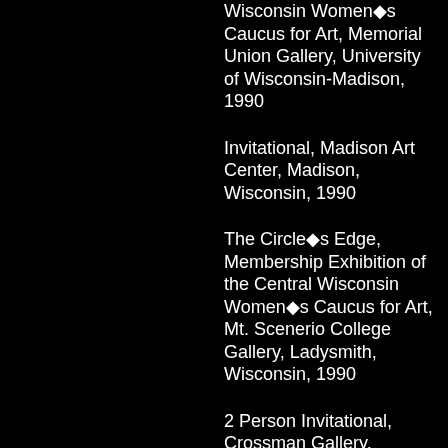Wisconsin Women◆s Caucus for Art, Memorial Union Gallery, University of Wisconsin-Madison, 1990
Invitational, Madison Art Center, Madison, Wisconsin, 1990
The Circle◆s Edge, Membership Exhibition of the Central Wisconsin Women◆s Caucus for Art, Mt. Scenerio College Gallery, Ladysmith, Wisconsin, 1990
2 Person Invitational, Crossman Gallery, University of Wisconsin-Whitewater, 1989